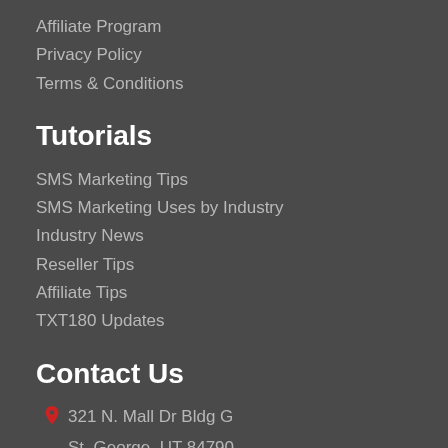Affiliate Program
Privacy Policy
Terms & Conditions
Tutorials
SMS Marketing Tips
SMS Marketing Uses by Industry
Industry News
Reseller Tips
Affiliate Tips
TXT180 Updates
Contact Us
321 N. Mall Dr Bldg G
St. George, UT 84790
Phone: 877-989-8180
support@txt180.com
TXT180 on Facebook